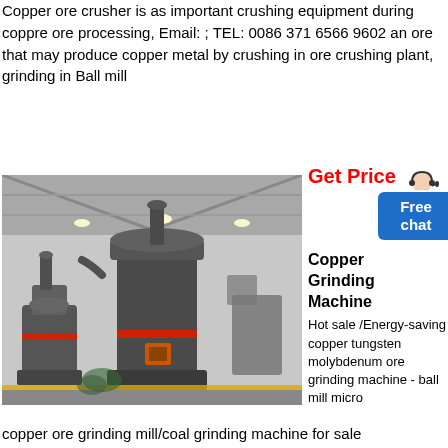Copper ore crusher is as important crushing equipment during coppre ore processing, Email: ; TEL: 0086 371 6566 9602 an ore that may produce copper metal by crushing in ore crushing plant, grinding in Ball mill
[Figure (photo): Industrial grinding machines (ball mills / ore grinding equipment) in a large factory hall with high ceilings and overhead lighting]
Get Price
[Figure (illustration): Customer service avatar - woman with headset]
Free chat
Copper Grinding Machine
Hot sale /Energy-saving copper tungsten molybdenum ore grinding machine - ball mill micro copper ore grinding mill/coal grinding machine for sale